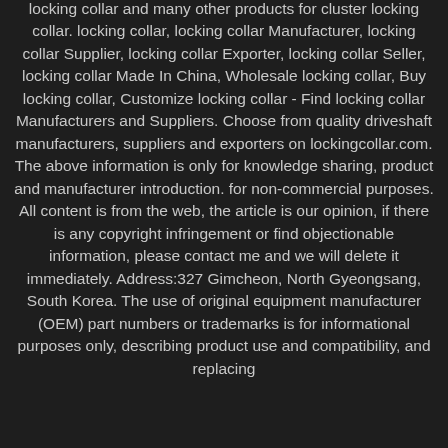locking collar and many other products for cluster locking collar. locking collar, locking collar Manufacturer, locking collar Supplier, locking collar Exporter, locking collar Seller, locking collar Made In China, Wholesale locking collar, Buy locking collar, Customize locking collar - Find locking collar Manufacturers and Suppliers. Choose from quality driveshaft manufacturers, suppliers and exporters on lockingcollar.com. The above information is only for knowledge sharing, product and manufacturer introduction. for non-commercial purposes. All content is from the web, the article is our opinion, if there is any copyright infringement or find objectionable information, please contact me and we will delete it immediately. Address:327 Gimcheon, North Gyeongsang, South Korea. The use of original equipment manufacturer (OEM) part numbers or trademarks is for informational purposes only, describing product use and compatibility, and replacing